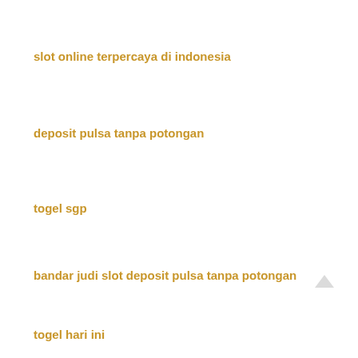slot online terpercaya di indonesia
deposit pulsa tanpa potongan
togel sgp
bandar judi slot deposit pulsa tanpa potongan
togel hari ini
slot88 terbaik